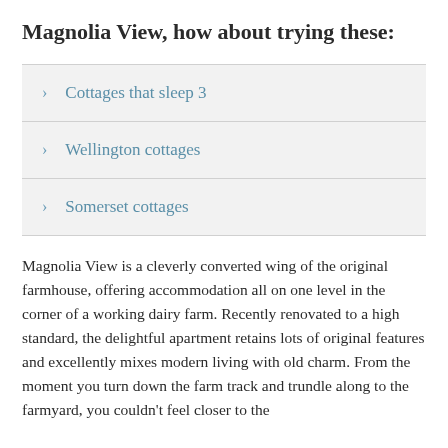Magnolia View, how about trying these:
Cottages that sleep 3
Wellington cottages
Somerset cottages
Magnolia View is a cleverly converted wing of the original farmhouse, offering accommodation all on one level in the corner of a working dairy farm. Recently renovated to a high standard, the delightful apartment retains lots of original features and excellently mixes modern living with old charm. From the moment you turn down the farm track and trundle along to the farmyard, you couldn't feel closer to the